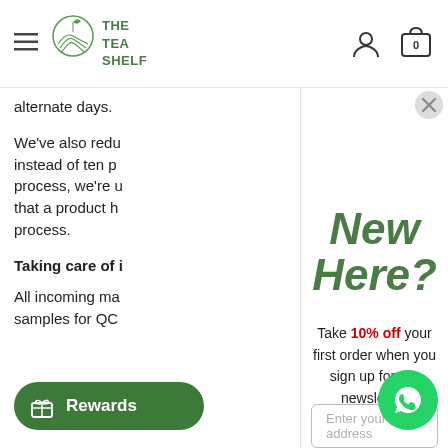THE TEA SHELF — navigation header with hamburger menu, logo, user icon, and cart (0)
alternate days.
We've also redu instead of ten p process, we're u that a product h process.
Taking care of i
All incoming ma samples for QC
[Figure (screenshot): New Here? popup modal with 10% off newsletter signup offer, email input field, and Get Offer button]
New Here?
Take 10% off your first order when you sign up for our newsletter.
Enter your email address
Get Offer
Rewards